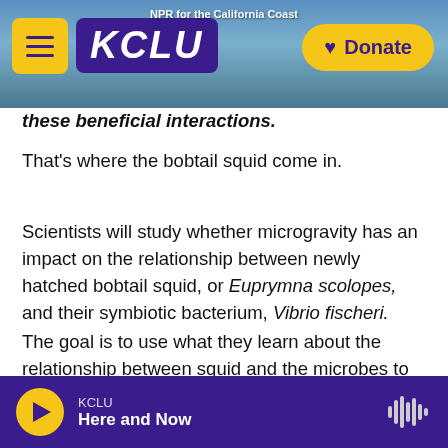[Figure (screenshot): KCLU radio station website header with logo, hamburger menu, NPR for the California Coast text, and yellow Donate button over a coastal city background photo]
these beneficial interactions.
That's where the bobtail squid come in.
Scientists will study whether microgravity has an impact on the relationship between newly hatched bobtail squid, or Euprymna scolopes, and their symbiotic bacterium, Vibrio fischeri.
The goal is to use what they learn about the relationship between squid and the microbes to help better prepare astronauts for lengthy space missions and preserve their health while they're out there.
KCLU — Here and Now